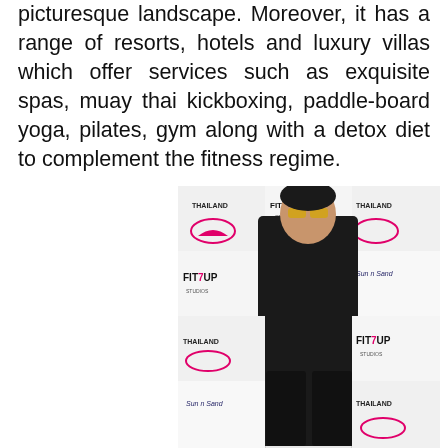picturesque landscape. Moreover, it has a range of resorts, hotels and luxury villas which offer services such as exquisite spas, muay thai kickboxing, paddle-board yoga, pilates, gym along with a detox diet to complement the fitness regime.
[Figure (photo): A man dressed in all black (black sweater and black jeans) wearing yellow-tinted sunglasses, posing in front of a sponsor backdrop featuring Thailand Tourism, FIT7UP Studios, and Sun n Sand logos.]